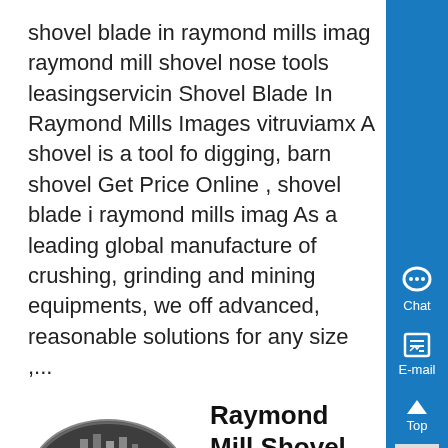shovel blade in raymond mills imag raymond mill shovel nose tools leasingservicin Shovel Blade In Raymond Mills Images vitruviamx A shovel is a tool for digging, barn shovel Get Price Online , shovel blade in raymond mills imag As a leading global manufacturer of crushing, grinding and mining equipments, we offer advanced, reasonable solutions for any size ,...
[Figure (photo): Oval/ellipse shaped photo of industrial raymond mill machinery]
Raymond Mill Shovel Nose Tools
Know More
raymond mill shovel nose toolsraymond grinding machine , 3 80mm rolling mill amp 2 metal rollers jewelers tool 4100 shovel lower rollers great wall crusher rollers crusher coal mill liner 26amp 3b roller wet grinder with straight rollers raymond mill shovel nose tools high pressure grinding rollers gold mining